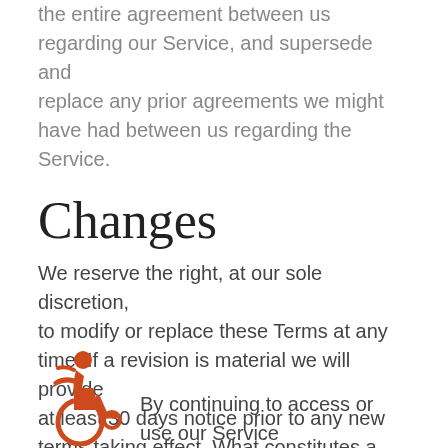the entire agreement between us regarding our Service, and supersede and replace any prior agreements we might have had between us regarding the Service.
Changes
We reserve the right, at our sole discretion, to modify or replace these Terms at any time. If a revision is material we will provide at least 30 days notice prior to any new terms taking effect. What constitutes a material change will be determined at our sole discretion.
By continuing to access or use our Service